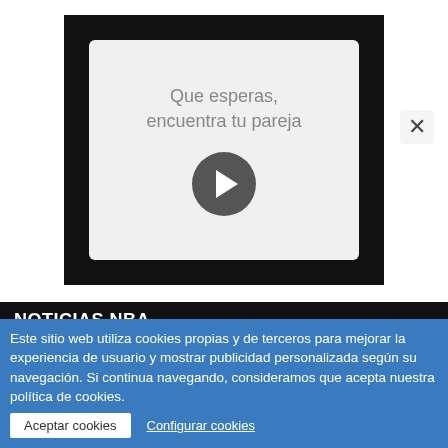[Figure (other): Advertisement banner with dark outer frame, light inner box, text 'Que esperas, encuentra tu pareja' in grey, a grey circular play/forward button, and an X close button in the top-right corner.]
NOTICIAS NBA
[Figure (screenshot): Partial tab navigation row with a blue active tab and a grey inactive tab, partially visible.]
Este sitio web utiliza cookies propias y de terceros para mejorar la experiencia de usuario y mostrar publicidad personalizada según su navegación. Si continua navegando, consideramos que acepta nuestra política de cookies.